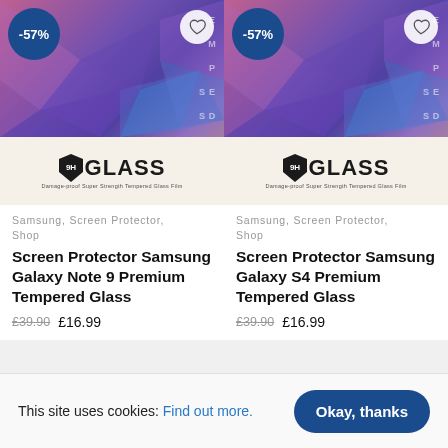[Figure (photo): Product photo of 9H Glass Screen Protector packaging with purple/pink geometric diamond pattern and '9H GLASS' branding, showing -57% discount badge and heart wishlist icon. Left product card.]
Samsung, Screen Protector, Shop
Screen Protector Samsung Galaxy Note 9 Premium Tempered Glass
£39.90  £16.99
[Figure (photo): Product photo of 9H Glass Screen Protector packaging with purple/pink geometric diamond pattern and '9H GLASS' branding, showing -57% discount badge and heart wishlist icon. Right product card.]
Samsung, Screen Protector, Shop
Screen Protector Samsung Galaxy S4 Premium Tempered Glass
£39.90  £16.99
This site uses cookies: Find out more. Okay, thanks